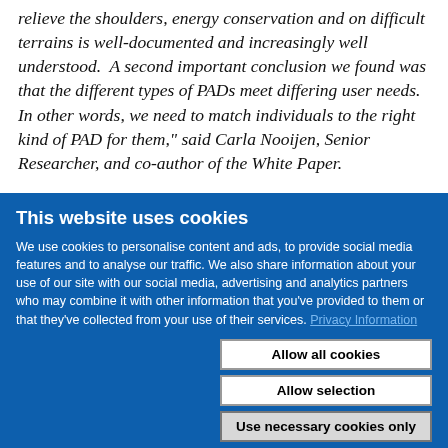relieve the shoulders, energy conservation and on difficult terrains is well-documented and increasingly well understood.  A second important conclusion we found was that the different types of PADs meet differing user needs. In other words, we need to match individuals to the right kind of PAD for them," said Carla Nooijen, Senior Researcher, and co-author of the White Paper.
This website uses cookies
We use cookies to personalise content and ads, to provide social media features and to analyse our traffic. We also share information about your use of our site with our social media, advertising and analytics partners who may combine it with other information that you've provided to them or that they've collected from your use of their services. Privacy Information
Allow all cookies
Allow selection
Use necessary cookies only
Necessary  Preferences  Statistics  Marketing  Show details